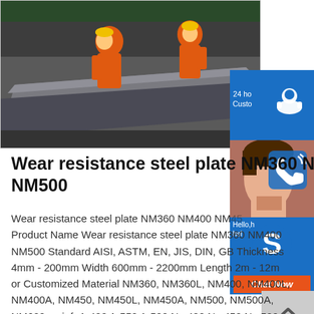[Figure (photo): Two workers in orange protective suits and yellow helmets inspecting/working on a large dark steel plate in a factory setting.]
Wear resistance steel plate NM360 NM400 NM450 NM500
Wear resistance steel plate NM360 NM400 NM450 Product Name Wear resistance steel plate NM360 NM400 NM500 Standard AISI, ASTM, EN, JIS, DIN, GB Thickness 4mm - 200mm Width 600mm - 2200mm Length 2m - 12m or Customized Material NM360, NM360L, NM400, NM400L, NM400A, NM450, NM450L, NM450A, NM500, NM500A, NM600 sp infoAr400 Ar550 Ar500 Nm400 Nm450 Nm500